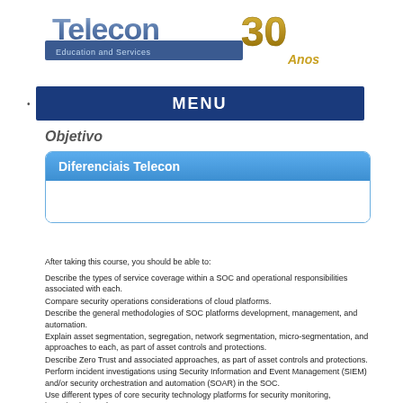[Figure (logo): Telecon 30 Anos Education and Services logo]
MENU
Objetivo
Diferenciais Telecon
After taking this course, you should be able to:
Describe the types of service coverage within a SOC and operational responsibilities associated with each.
Compare security operations considerations of cloud platforms.
Describe the general methodologies of SOC platforms development, management, and automation.
Explain asset segmentation, segregation, network segmentation, micro-segmentation, and approaches to each, as part of asset controls and protections.
Describe Zero Trust and associated approaches, as part of asset controls and protections.
Perform incident investigations using Security Information and Event Management (SIEM) and/or security orchestration and automation (SOAR) in the SOC.
Use different types of core security technology platforms for security monitoring, investigation, and response.